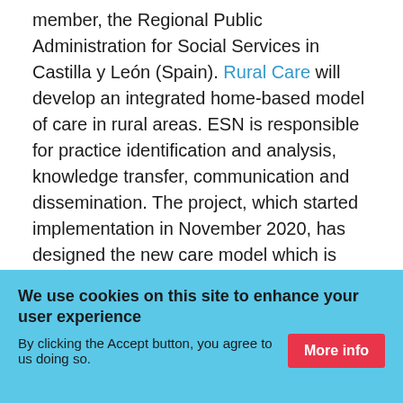member, the Regional Public Administration for Social Services in Castilla y León (Spain). Rural Care will develop an integrated home-based model of care in rural areas. ESN is responsible for practice identification and analysis, knowledge transfer, communication and dissemination. The project, which started implementation in November 2020, has designed the new care model which is now being piloted.
Find out more
[Figure (other): Gray video/media placeholder box with a white close (×) button in the upper right corner]
We use cookies on this site to enhance your user experience
By clicking the Accept button, you agree to us doing so. More info